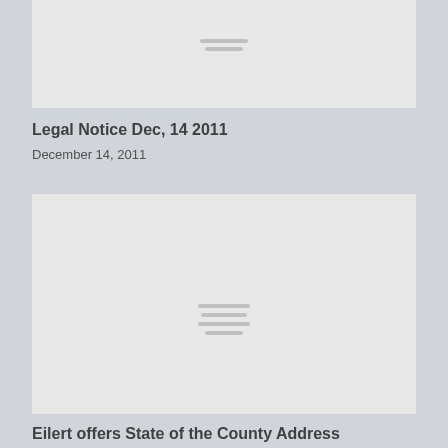[Figure (other): Gray placeholder image thumbnail at top of page with two horizontal lines icon in center]
Legal Notice Dec, 14 2011
December 14, 2011
[Figure (other): Gray placeholder image thumbnail with four horizontal lines icon in center]
Eilert offers State of the County Address